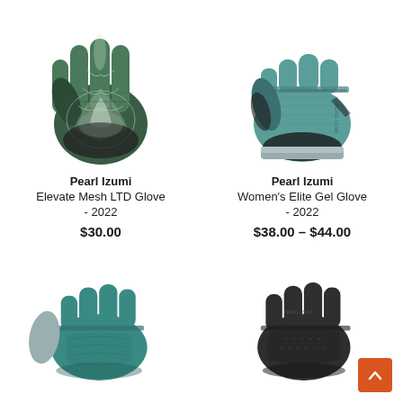[Figure (photo): Pearl Izumi Elevate Mesh LTD Glove - full finger cycling glove with green floral/tie-dye pattern and black palm]
Pearl Izumi
Elevate Mesh LTD Glove - 2022
$30.00
[Figure (photo): Pearl Izumi Women's Elite Gel Glove - fingerless cycling glove in teal/green color with black accents]
Pearl Izumi
Women's Elite Gel Glove - 2022
$38.00 – $44.00
[Figure (photo): Pearl Izumi fingerless cycling glove in teal color, palm view]
[Figure (photo): Pearl Izumi fingerless cycling glove in dark gray/black color, palm view]